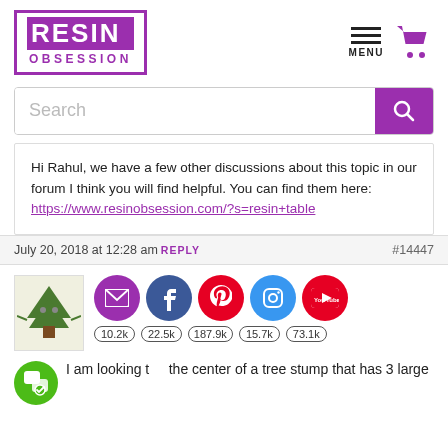[Figure (logo): Resin Obsession logo — purple box with white RESIN text and purple OBSESSION text below]
[Figure (illustration): Hamburger menu icon with MENU label and purple shopping cart icon]
[Figure (screenshot): Search bar with purple search button]
Hi Rahul, we have a few other discussions about this topic in our forum I think you will find helpful. You can find them here: https://www.resinobsession.com/?s=resin+table
July 20, 2018 at 12:28 am REPLY #14447
[Figure (illustration): Social media icons: email (10.2k), Facebook (22.5k), Pinterest (187.9k), Instagram (15.7k), YouTube (73.1k) with follower counts]
I am looking t the center of a tree stump that has 3 large